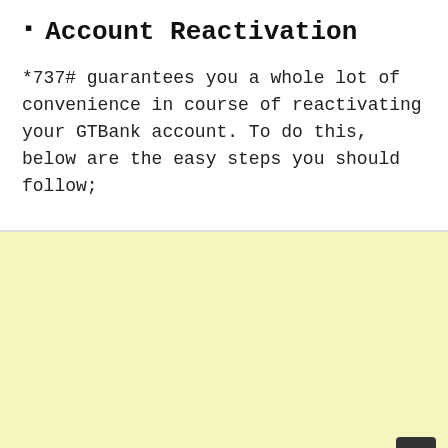Account Reactivation
*737# guarantees you a whole lot of convenience in course of reactivating your GTBank account. To do this, below are the easy steps you should follow;